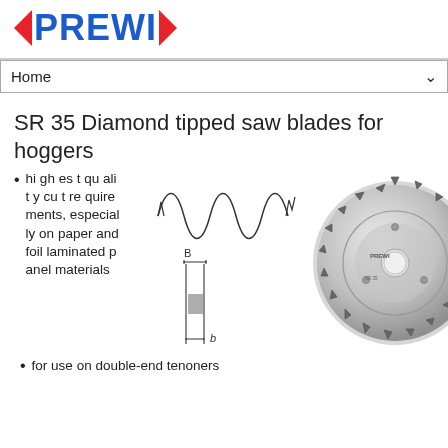[Figure (logo): PREWI logo with red left-pointing and right-pointing arrows flanking blue bold text PREWI]
Home
SR 35 Diamond tipped saw blades for hoggers
[Figure (engineering-diagram): Two engineering diagrams: top shows a wavy cutting edge profile; bottom shows a cross-section of a saw tooth with dimension labels B (body width) and b (tip width)]
[Figure (photo): Photo of a circular saw blade with diamond tips, PREWI branded]
highest quality cut requirements, especially on paper and foil laminated panel materials
for use on double-end tenoners